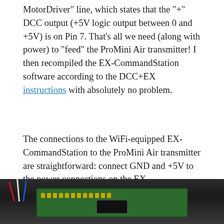MotorDriver" line, which states that the "+" DCC output (+5V logic output between 0 and +5V) is on Pin 7. That's all we need (along with power) to "feed" the ProMini Air transmitter! I then recompiled the EX-CommandStation software according to the DCC+EX instructions with absolutely no problem.
The connections to the WiFi-equipped EX-CommandStation to the ProMini Air transmitter are straightforward: connect GND and +5V to the power connections on the EX-CommandStation motherboard, and the +5V DCC input to Pin 7 on the motherboard.
[Figure (photo): Photograph of a circuit board (PCB) with wires connected, showing the EX-CommandStation motherboard setup with green PCB and various wire connections visible at the bottom of the page.]